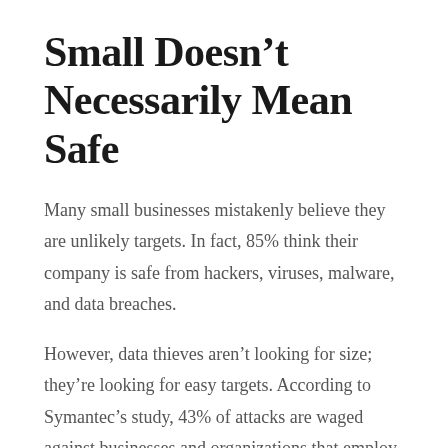Small Doesn't Necessarily Mean Safe
Many small businesses mistakenly believe they are unlikely targets. In fact, 85% think their company is safe from hackers, viruses, malware, and data breaches.
However, data thieves aren't looking for size; they're looking for easy targets. According to Symantec's study, 43% of attacks are waged against businesses and organizations that employ fewer than 250 people.